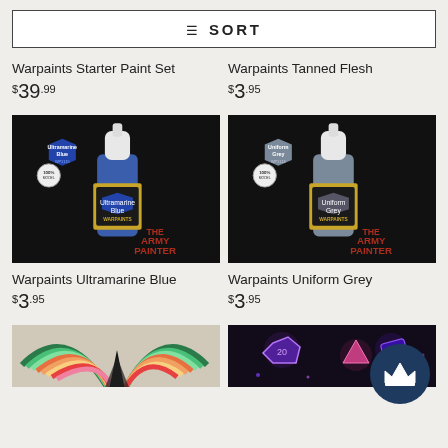SORT
Warpaints Starter Paint Set
$39.99
Warpaints Tanned Flesh
$3.95
[Figure (photo): Army Painter Warpaints Ultramarine Blue paint bottle against black background]
[Figure (photo): Army Painter Warpaints Uniform Grey paint bottle against black background]
Warpaints Ultramarine Blue
$3.95
Warpaints Uniform Grey
$3.95
[Figure (photo): Colorful geometric rainbow pattern artwork]
[Figure (photo): Purple glowing gaming dice on dark wooden surface]